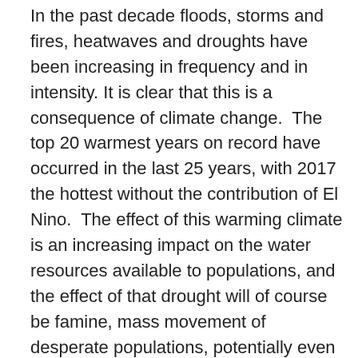In the past decade floods, storms and fires, heatwaves and droughts have been increasing in frequency and in intensity. It is clear that this is a consequence of climate change.  The top 20 warmest years on record have occurred in the last 25 years, with 2017 the hottest without the contribution of El Nino.  The effect of this warming climate is an increasing impact on the water resources available to populations, and the effect of that drought will of course be famine, mass movement of desperate populations, potentially even war.
Isaac tried to reclaim the resources his father had used and presumably owned, but was no match for the resident population and each time moved on. It is a story of tribal struggle, of becoming a resource migrant, of learning that one cannot behave as we have been doing earlier, we must find new solutions to the problem of managing our